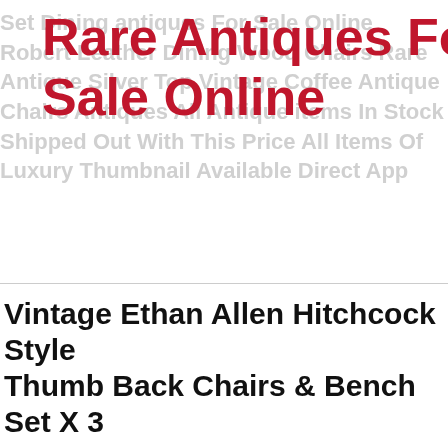Rare Antiques For Sale Online
Antique Oak
Antique Mahogany
Antique Carpet
Antique Painting
Antique Glass
Antique Plate
Vintage Ethan Allen Hitchcock Style Thumb Back Chairs & Bench Set X 3